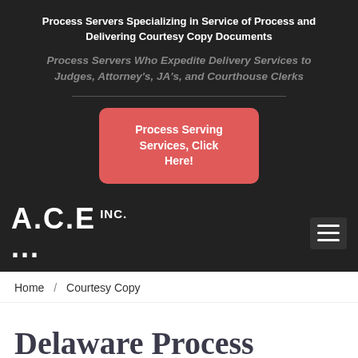Process Servers Specializing in Service of Process and Delivering Courtesy Copy Documents
Process Servers Who Expedite Delivery Services to Judges, Attorney's, JA's, and Courthouse Clerks
Process Serving Services, Click Here!
[Figure (logo): A.C.E INC. logo in white bold text on dark background with hamburger menu icon]
Home / Courtesy Copy
Delaware Process Server's For Service of Process and